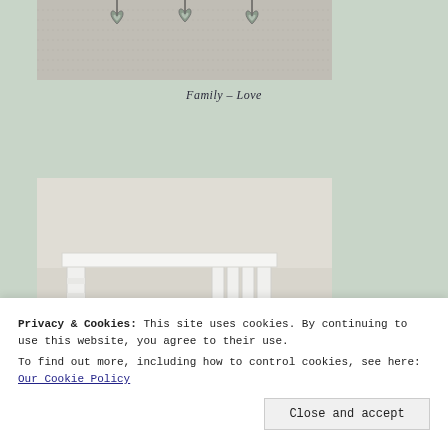[Figure (photo): Photo of decorative heart ornaments hanging on a textured wall background]
Family – Love
[Figure (photo): Photo of a white crib or bed frame with a blue mug/cup visible, in a room with neutral walls]
Privacy & Cookies: This site uses cookies. By continuing to use this website, you agree to their use.
To find out more, including how to control cookies, see here: Our Cookie Policy
Close and accept